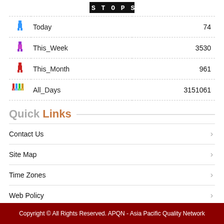[Figure (logo): Pixelated counter/visitor logo banner at top]
| Icon | Label | Value |
| --- | --- | --- |
| [blue icon] | Today | 74 |
| [purple icon] | This_Week | 3530 |
| [red icon] | This_Month | 961 |
| [group icon] | All_Days | 3151061 |
Quick Links
Contact Us
Site Map
Time Zones
Web Policy
Mailing List
Copyright © All Rights Reserved. APQN - Asia Pacific Quality Network